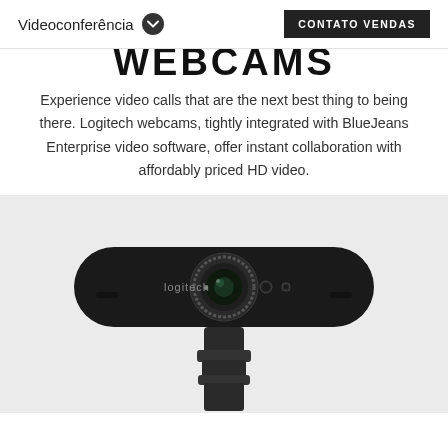Videoconferência | CONTATO VENDAS
WEBCAMS
Experience video calls that are the next best thing to being there. Logitech webcams, tightly integrated with BlueJeans Enterprise video software, offer instant collaboration with affordably priced HD video.
[Figure (photo): Close-up front view of a Logitech BRIO webcam, showing the wide bar-shaped body with the Logitech logo, central lens with ring, microphone, and IR sensor, mounted on a clip/stand against a light grey background.]